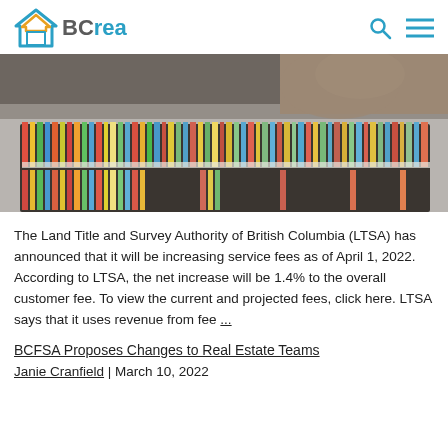[Figure (logo): BCrea logo with house icon in orange and blue teal colors, text 'BCrea' with search and menu icons on the right]
[Figure (photo): Colorful hanging file folders in a filing cabinet drawer with a hand reaching to pull one out]
The Land Title and Survey Authority of British Columbia (LTSA) has announced that it will be increasing service fees as of April 1, 2022. According to LTSA, the net increase will be 1.4% to the overall customer fee. To view the current and projected fees, click here. LTSA says that it uses revenue from fee ...
BCFSA Proposes Changes to Real Estate Teams
Janie Cranfield | March 10, 2022